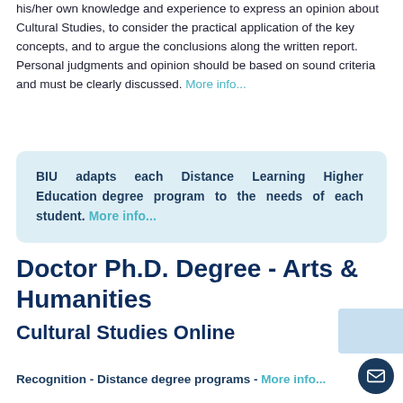his/her own knowledge and experience to express an opinion about Cultural Studies, to consider the practical application of the key concepts, and to argue the conclusions along the written report. Personal judgments and opinion should be based on sound criteria and must be clearly discussed. More info...
BIU adapts each Distance Learning Higher Education degree program to the needs of each student. More info...
Doctor Ph.D. Degree - Arts & Humanities
Cultural Studies Online
Recognition - Distance degree programs - More info...